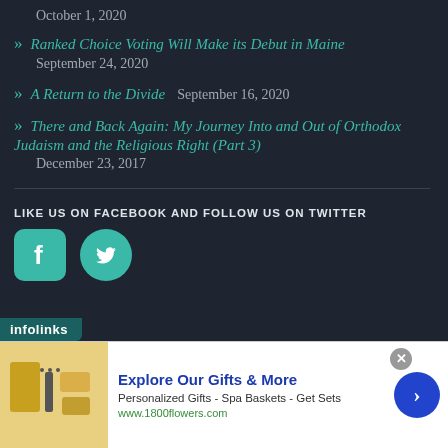October 1, 2020
» Ranked Choice Voting Will Make its Debut in Maine  September 24, 2020
» A Return to the Divide  September 16, 2020
» There and Back Again: My Journey Into and Out of Orthodox Judaism and the Religious Right (Part 3)  December 23, 2017
LIKE US ON FACEBOOK AND FOLLOW US ON TWITTER
[Figure (illustration): Facebook and Twitter social media icons in teal color]
[Figure (infographic): Infolinks advertisement bar at bottom left]
[Figure (photo): Advertisement banner: Explore Our Gifts & More - Personalized Gifts - Spa Baskets - Get Sets - www.1800flowers.com]